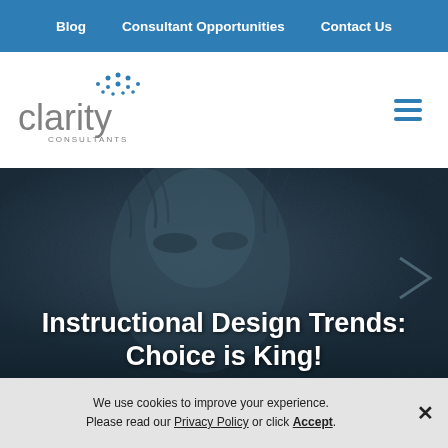Blog  |  Consultant Opportunities  |  Contact Us
[Figure (logo): Clarity Consultants logo with blue dot-pattern icon and gray wordmark]
[Figure (photo): Dark textured close-up of a stone or sculpted face with blue-gray tones]
Instructional Design Trends: Choice is King!
We use cookies to improve your experience. Please read our Privacy Policy or click Accept.